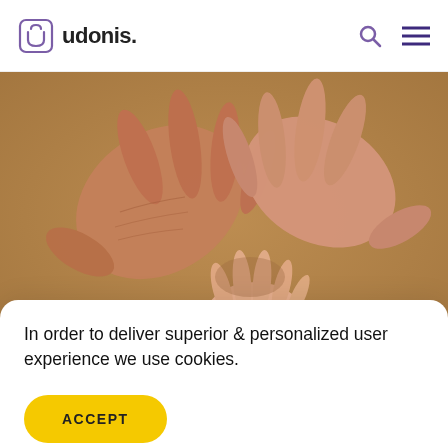udonis.
[Figure (photo): Three hands touching fingertips together — an elderly wrinkled hand from top-left, an adult hand from top-right, and a child's small hand from below, all meeting at fingertips on a brown/tan background.]
In order to deliver superior & personalized user experience we use cookies.
ACCEPT
Games